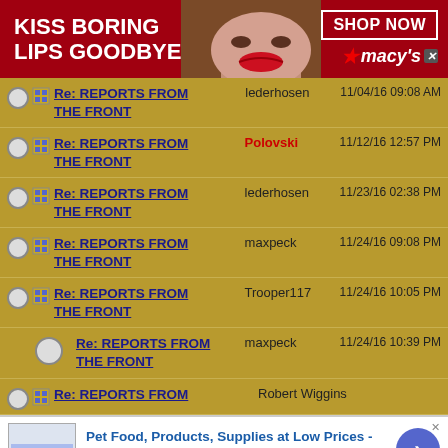[Figure (infographic): Macy's advertisement banner: 'KISS BORING LIPS GOODBYE' with woman's face and red lips, SHOP NOW button and Macy's star logo]
Re: REPORTS FROM THE FRONT | lederhosen | 11/04/16 09:08 AM
Re: REPORTS FROM THE FRONT | Polovski | 11/12/16 12:57 PM
Re: REPORTS FROM THE FRONT | lederhosen | 11/23/16 02:38 PM
Re: REPORTS FROM THE FRONT | maxpeck | 11/24/16 09:08 PM
Re: REPORTS FROM THE FRONT | Trooper117 | 11/24/16 10:05 PM
Re: REPORTS FROM THE FRONT | maxpeck | 11/24/16 10:39 PM
Re: REPORTS FROM | Robert Wiggins
[Figure (infographic): Chewy.com advertisement: Pet Food, Products, Supplies at Low Prices - Pay the lowest prices on pet supplies at Chewy.com]